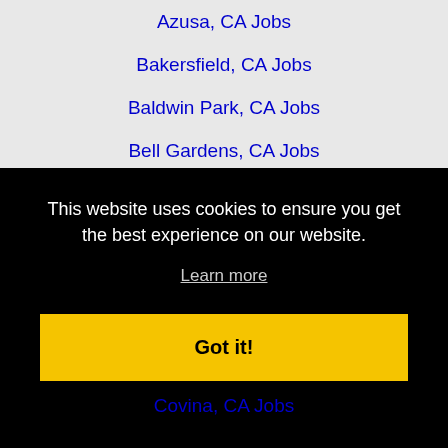Azusa, CA Jobs
Bakersfield, CA Jobs
Baldwin Park, CA Jobs
Bell Gardens, CA Jobs
Bellflower, CA Jobs
Beverly Hills, CA Jobs
Buena Park, CA Jobs
Burbank, CA Jobs
Camarillo, CA Jobs
Carlsbad, CA Jobs
This website uses cookies to ensure you get the best experience on our website.
Learn more
Got it!
Covina, CA Jobs